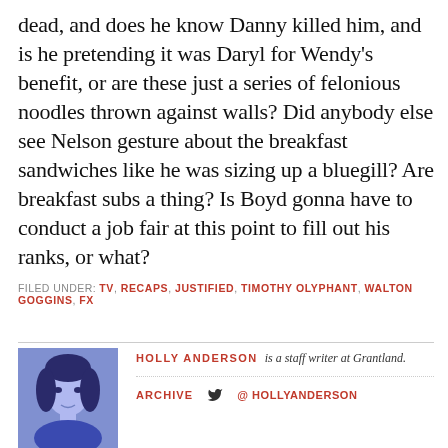dead, and does he know Danny killed him, and is he pretending it was Daryl for Wendy's benefit, or are these just a series of felonious noodles thrown against walls? Did anybody else see Nelson gesture about the breakfast sandwiches like he was sizing up a bluegill? Are breakfast subs a thing? Is Boyd gonna have to conduct a job fair at this point to fill out his ranks, or what?
FILED UNDER: TV, RECAPS, JUSTIFIED, TIMOTHY OLYPHANT, WALTON GOGGINS, FX
[Figure (photo): Author photo of Holly Anderson, blue-tinted portrait of a woman with dark hair]
HOLLY ANDERSON is a staff writer at Grantland.
ARCHIVE  @ HOLLYANDERSON